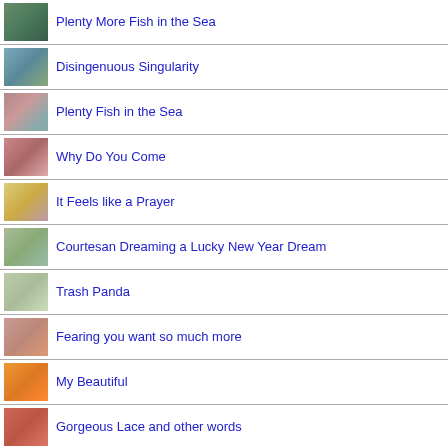Plenty More Fish in the Sea
Disingenuous Singularity
Plenty Fish in the Sea
Why Do You Come
It Feels like a Prayer
Courtesan Dreaming a Lucky New Year Dream
Trash Panda
Fearing you want so much more
My Beautiful
Gorgeous Lace and other words
Extinction Rebellion 1